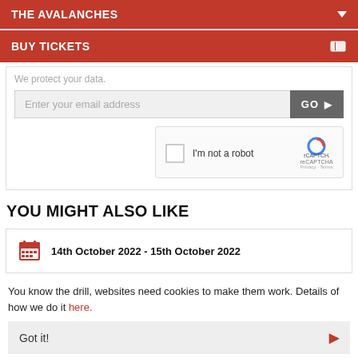THE AVALANCHES
BUY TICKETS
We protect your data.
[Figure (screenshot): Email input field with placeholder 'Enter your email address' and a GO button]
[Figure (screenshot): reCAPTCHA widget with checkbox labeled 'I'm not a robot']
YOU MIGHT ALSO LIKE
14th October 2022 - 15th October 2022
You know the drill, websites need cookies to make them work. Details of how we do it here.
Got it!